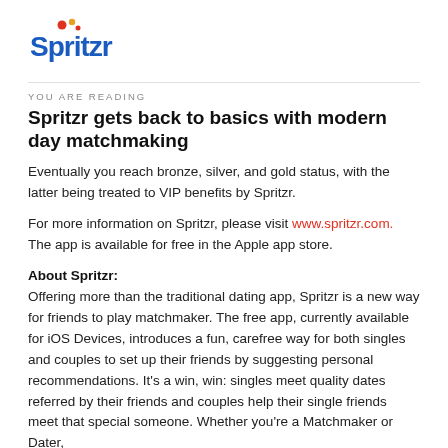[Figure (logo): Spritzr logo with blue text and red/orange dot graphic above the S]
YOU ARE READING
Spritzr gets back to basics with modern day matchmaking
Eventually you reach bronze, silver, and gold status, with the latter being treated to VIP benefits by Spritzr.
For more information on Spritzr, please visit www.spritzr.com. The app is available for free in the Apple app store.
About Spritzr:
Offering more than the traditional dating app, Spritzr is a new way for friends to play matchmaker. The free app, currently available for iOS Devices, introduces a fun, carefree way for both singles and couples to set up their friends by suggesting personal recommendations. It's a win, win: singles meet quality dates referred by their friends and couples help their single friends meet that special someone. Whether you're a Matchmaker or Dater,